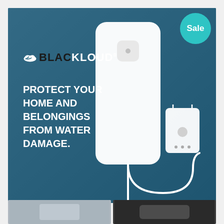[Figure (photo): Product advertisement image for BlackKloud water damage sensor on a teal/dark blue background. Shows a white rectangular smart home water sensor device with a white external probe connected by a cable. Left side has the BlackKloud logo and tagline 'Protect your home and belongings from water damage.' A teal circular 'Sale' badge is in the top-right corner.]
[Figure (photo): Bottom-left thumbnail image showing a partial view of a product, appears grayish.]
[Figure (photo): Bottom-right thumbnail image showing a product on dark background.]